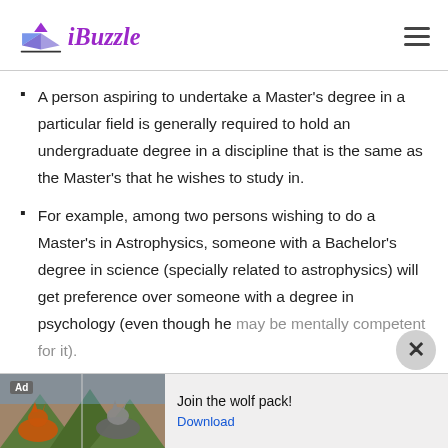iBuzzle
A person aspiring to undertake a Master's degree in a particular field is generally required to hold an undergraduate degree in a discipline that is the same as the Master's that he wishes to study in.
For example, among two persons wishing to do a Master's in Astrophysics, someone with a Bachelor's degree in science (specially related to astrophysics) will get preference over someone with a degree in psychology (even though he may be mentally competent for it).
[Figure (other): Advertisement banner with wolf pack images and text 'Join the wolf pack!' with a Download link]